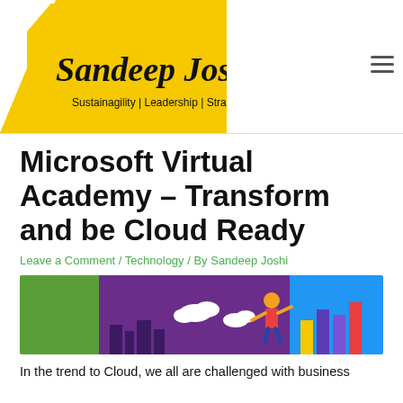[Figure (logo): Sandeep Joshi logo with yellow triangle background, text reads 'Sandeep Joshi' with tagline 'Sustainagility | Leadership | Strategy']
Microsoft Virtual Academy – Transform and be Cloud Ready
Leave a Comment / Technology / By Sandeep Joshi
[Figure (illustration): Banner illustration showing Microsoft Virtual Academy themed graphic with green rectangle, purple background with buildings and clouds, a person with tools, and colorful bar chart columns on blue background]
In the trend to Cloud, we all are challenged with business